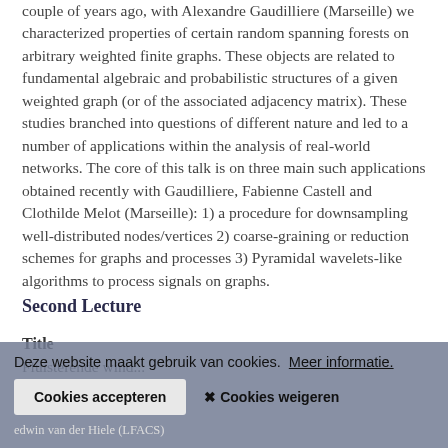couple of years ago, with Alexandre Gaudilliere (Marseille) we characterized properties of certain random spanning forests on arbitrary weighted finite graphs. These objects are related to fundamental algebraic and probabilistic structures of a given weighted graph (or of the associated adjacency matrix). These studies branched into questions of different nature and led to a number of applications within the analysis of real-world networks. The core of this talk is on three main such applications obtained recently with Gaudilliere, Fabienne Castell and Clothilde Melot (Marseille): 1) a procedure for downsampling well-distributed nodes/vertices 2) coarse-graining or reduction schemes for graphs and processes 3) Pyramidal wavelets-like algorithms to process signals on graphs.
Second Lecture
Title
Fluisterende wind...